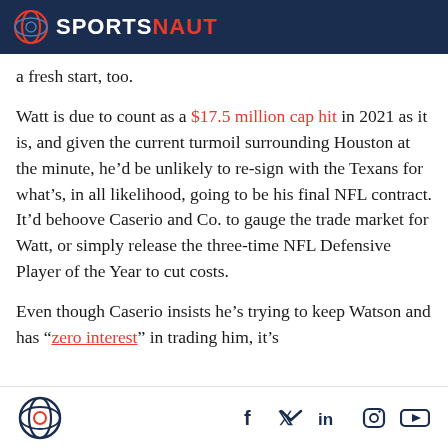SPORTSNAUT
a fresh start, too.
Watt is due to count as a $17.5 million cap hit in 2021 as it is, and given the current turmoil surrounding Houston at the minute, he’d be unlikely to re-sign with the Texans for what’s, in all likelihood, going to be his final NFL contract. It’d behoove Caserio and Co. to gauge the trade market for Watt, or simply release the three-time NFL Defensive Player of the Year to cut costs.
Even though Caserio insists he’s trying to keep Watson and has “zero interest” in trading him, it’s
Sportsnaut logo and social icons: Facebook, Twitter, LinkedIn, Instagram, YouTube